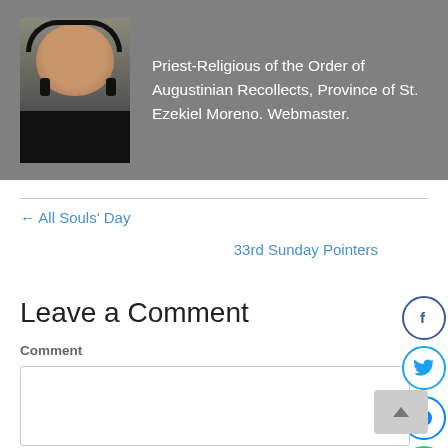[Figure (photo): Profile photo of a man wearing headphones and dark shirt]
Priest-Religious of the Order of Augustinian Recollects, Province of St. Ezekiel Moreno. Webmaster.
← All Souls' Day
33rd Sunday Pointers
Leave a Comment
Comment